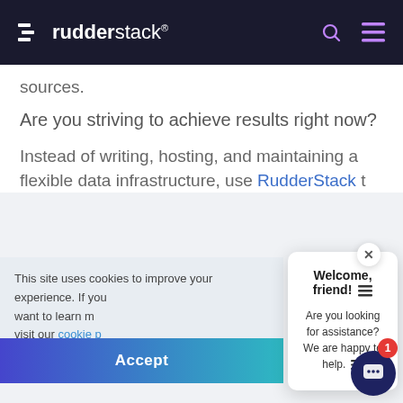rudderstack
sources.
Are you striving to achieve results right now?
Instead of writing, hosting, and maintaining a flexible data infrastructure, use RudderStack t…
This site uses cookies to improve your experience. If you want to learn m… visit our cookie p… you can op…
[Figure (screenshot): Chat popup with title 'Welcome, friend!' and body text 'Are you looking for assistance? We are happy to help.']
Accept
[Figure (illustration): Chat widget button with badge showing 1]